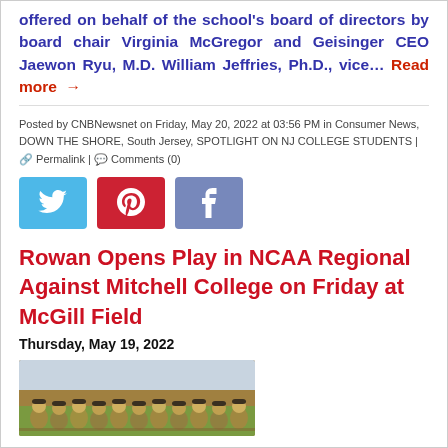offered on behalf of the school's board of directors by board chair Virginia McGregor and Geisinger CEO Jaewon Ryu, M.D. William Jeffries, Ph.D., vice… Read more →
Posted by CNBNewsnet on Friday, May 20, 2022 at 03:56 PM in Consumer News, DOWN THE SHORE, South Jersey, SPOTLIGHT ON NJ COLLEGE STUDENTS | ⚇ Permalink | ○ Comments (0)
[Figure (other): Social media share buttons: Twitter (blue), Pinterest (red), Facebook (purple/blue)]
Rowan Opens Play in NCAA Regional Against Mitchell College on Friday at McGill Field
Thursday, May 19, 2022
[Figure (photo): Group photo of a baseball team celebrating outdoors, players wearing caps and jerseys, with a trophy]